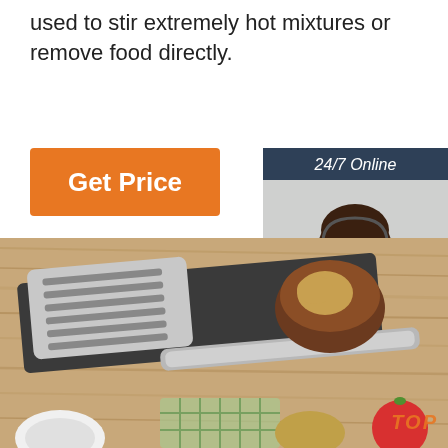used to stir extremely hot mixtures or remove food directly.
Get Price
24/7 Online
[Figure (photo): Customer service agent woman with headset smiling]
Click here for free chat !
QUOTATION
[Figure (photo): Stainless steel spatula/slotted turner kitchen utensil lying on a wooden surface with vegetables in background]